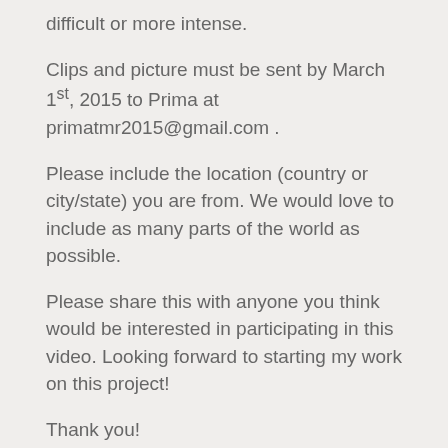difficult or more intense.
Clips and picture must be sent by March 1st, 2015 to Prima at primatmr2015@gmail.com .
Please include the location (country or city/state) you are from. We would love to include as many parts of the world as possible.
Please share this with anyone you think would be interested in participating in this video. Looking forward to starting my work on this project!
Thank you!
~ Prima
For more by Prima, click here.